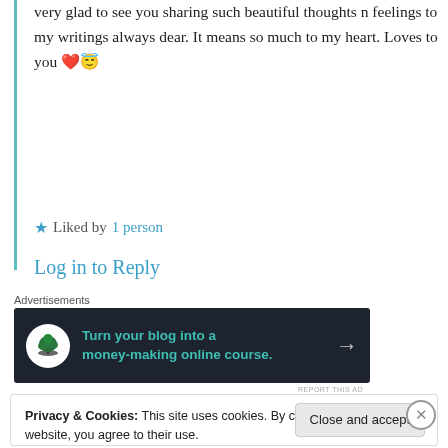very glad to see you sharing such beautiful thoughts n feelings to my writings always dear. It means so much to my heart. Loves to you ❤️😇
★ Liked by 1 person
Log in to Reply
Advertisements
[Figure (infographic): Dark banner ad: bonsai tree circle icon, teal text 'Turn your blog into a money-making online course.' with arrow]
REPORT THIS AD
Privacy & Cookies: This site uses cookies. By continuing to use this website, you agree to their use. To find out more, including how to control cookies, see here: Cookie Policy